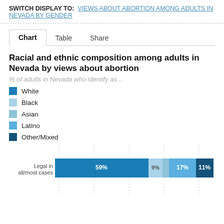SWITCH DISPLAY TO: VIEWS ABOUT ABORTION AMONG ADULTS IN NEVADA BY GENDER
Chart | Table | Share
Racial and ethnic composition among adults in Nevada by views about abortion
% of adults in Nevada who identify as...
White
Black
Asian
Latino
Other/Mixed
[Figure (stacked-bar-chart): Racial and ethnic composition among adults in Nevada by views about abortion]